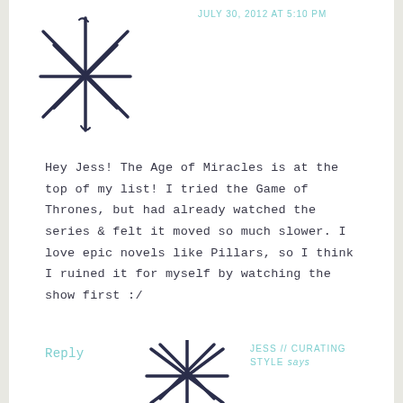[Figure (illustration): Hand-drawn star/asterisk logo avatar at top left, dark navy ink style]
JULY 30, 2012 AT 5:10 PM
Hey Jess! The Age of Miracles is at the top of my list! I tried the Game of Thrones, but had already watched the series & felt it moved so much slower. I love epic novels like Pillars, so I think I ruined it for myself by watching the show first :/
Reply
[Figure (illustration): Partial hand-drawn star/asterisk logo avatar at bottom center, dark navy ink style]
JESS // CURATING STYLE says